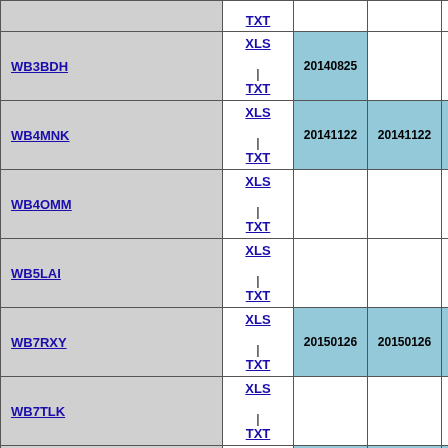| Name | Format | Date1 | Date2 | Date3 |
| --- | --- | --- | --- | --- |
|  | TXT |  |  |  |
| WB3BDH | XLS | TXT | 20140825 |  |  |
| WB4MNK | XLS | TXT | 20141122 | 20141122 | 20160326 |
| WB4OMM | XLS | TXT |  |  |  |
| WB5LAI | XLS | TXT |  |  |  |
| WB7RXY | XLS | TXT | 20150126 | 20150126 | 20150126 |
| WB7TLK | XLS | TXT |  |  |  |
| WB8YXF | XLS | TXT | 20170421 | 20170821 | 20170925 |
| WB9VKZ | XLS | TXT | 20150602 | 20150602 | 20150602 |